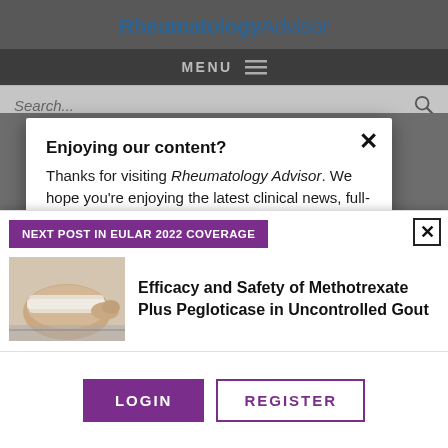RheumatologyAdvisor
MENU
Search...
Enjoying our content?
Thanks for visiting Rheumatology Advisor. We hope you're enjoying the latest clinical news, full-length features, case studies, and more.
NEXT POST IN EULAR 2022 COVERAGE
[Figure (photo): Thumbnail image of a foot/ankle with bandaging, related to gout treatment article]
Efficacy and Safety of Methotrexate Plus Pegloticase in Uncontrolled Gout
LOGIN
REGISTER